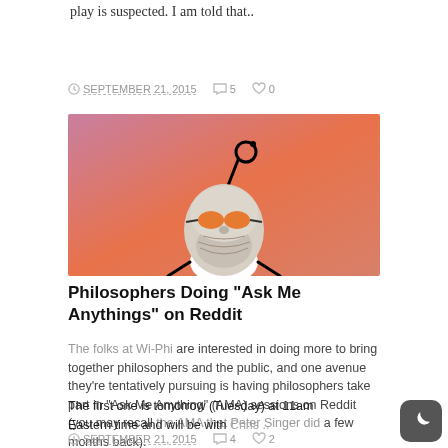play is suspected. I am told that..
SEPTEMBER 21, 2015  ○ 5  ♡ 0
[Figure (illustration): A marble bust statue (philosopher) wearing orange sunglasses, styled as the Reddit alien mascot with the characteristic antenna, against a pink-orange gradient background.]
Philosophers Doing “Ask Me Anythings” on Reddit
The folks at Wi-Phi are interested in doing more to bring together philosophers and the public, and one avenue they’re tentatively pursuing is having philosophers take part in “Ask Me Anything” (AMA) sessions on Reddit (you may recall the AMA that Peter Singer did a few months back).
The first one is tomorrow (Tuesday) at 11am Eastern time and will be with Chris ..
SEPTEMBER 21, 2015  ○ 4  ♡ 2